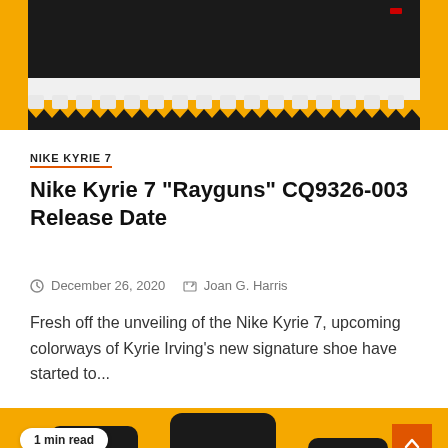[Figure (photo): Close-up photo of a Nike Kyrie 7 sneaker sole against an orange/yellow background, showing the white textured outsole with jagged tread pattern and dark upper]
NIKE KYRIE 7
Nike Kyrie 7 “Rayguns” CQ9326-003 Release Date
December 26, 2020   Joan G. Harris
Fresh off the unveiling of the Nike Kyrie 7, upcoming colorways of Kyrie Irving's new signature shoe have started to...
[Figure (photo): Photo of two Nike Kyrie 7 Rayguns sneakers shown from the back on a yellow/orange background, displaying the black upper with yellow heel cup and green circular logo emblem]